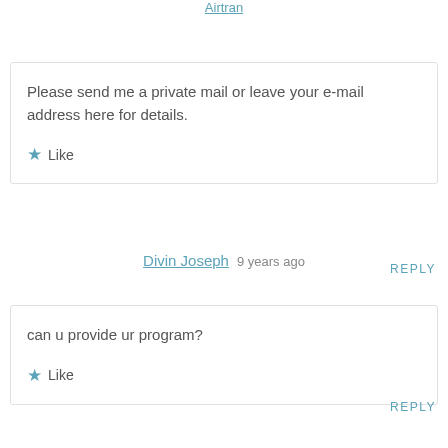Airtran  9 years ago
Please send me a private mail or leave your e-mail address here for details.
★ Like
REPLY
Divin Joseph  9 years ago
can u provide ur program?
★ Like
REPLY